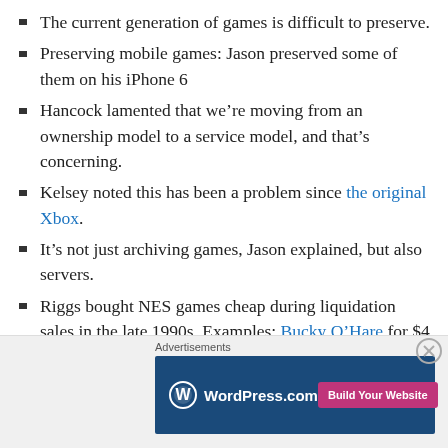The current generation of games is difficult to preserve.
Preserving mobile games: Jason preserved some of them on his iPhone 6
Hancock lamented that we're moving from an ownership model to a service model, and that's concerning.
Kelsey noted this has been a problem since the original Xbox.
It's not just archiving games, Jason explained, but also servers.
Riggs bought NES games cheap during liquidation sales in the late 1990s. Examples: Bucky O'Hare for $4 and Contra Force for $6.
[Figure (infographic): WordPress.com advertisement banner with logo and 'Build Your Website' button on dark blue background]